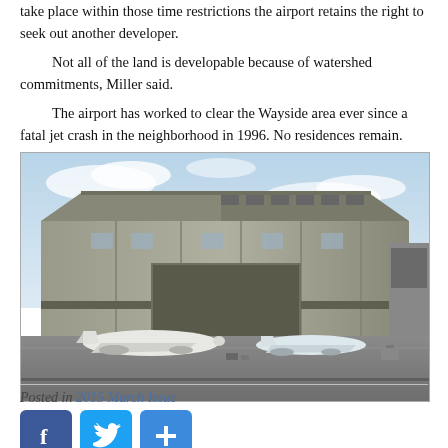take place within those time restrictions the airport retains the right to seek out another developer.
    Not all of the land is developable because of watershed commitments, Miller said.
    The airport has worked to clear the Wayside area ever since a fatal jet crash in the neighborhood in 1996. No residences remain.
[Figure (photo): Photograph of aircraft hangars at an airport, showing a large corrugated metal hangar building with business jets parked on the tarmac in front.]
Posted in 2015 March Issue